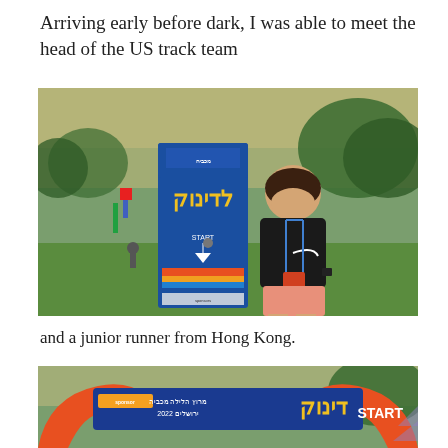Arriving early before dark, I was able to meet the head of the US track team
[Figure (photo): A smiling young woman in a black Nike shirt and salmon/pink shorts wearing an event credential lanyard, standing in front of a blue event banner with Hebrew text and 'START' label, in a green park setting.]
and a junior runner from Hong Kong.
[Figure (photo): An orange inflatable start arch with a blue banner reading 'דינוק START' and additional Hebrew text 'מרוץ הלילה מכביה ירושלים 2022' at the bottom of the frame.]